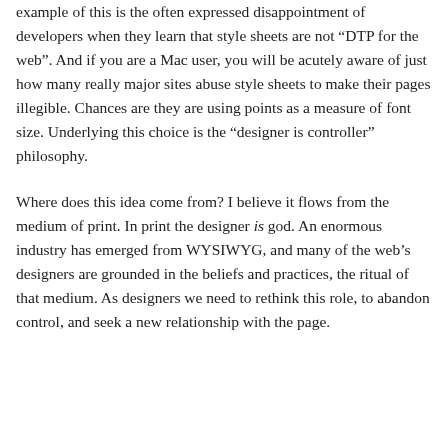example of this is the often expressed disappointment of developers when they learn that style sheets are not “DTP for the web”. And if you are a Mac user, you will be acutely aware of just how many really major sites abuse style sheets to make their pages illegible. Chances are they are using points as a measure of font size. Underlying this choice is the “designer is controller” philosophy.
Where does this idea come from? I believe it flows from the medium of print. In print the designer is god. An enormous industry has emerged from WYSIWYG, and many of the web’s designers are grounded in the beliefs and practices, the ritual of that medium. As designers we need to rethink this role, to abandon control, and seek a new relationship with the page.